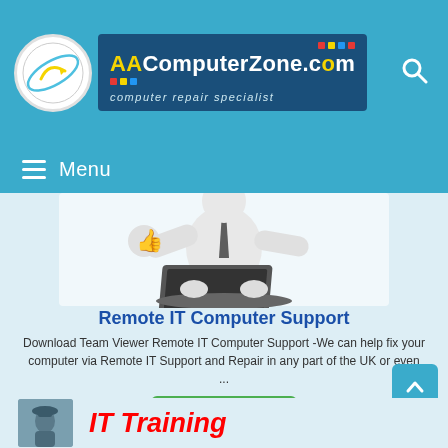AAComputerZone.com - computer repair specialist
Menu
[Figure (illustration): 3D white cartoon figure giving thumbs up while typing on a laptop computer]
Remote IT Computer Support
Download Team Viewer Remote IT Computer Support -We can help fix your computer via Remote IT Support and Repair in any part of the UK or even ...
Read More
IT Training